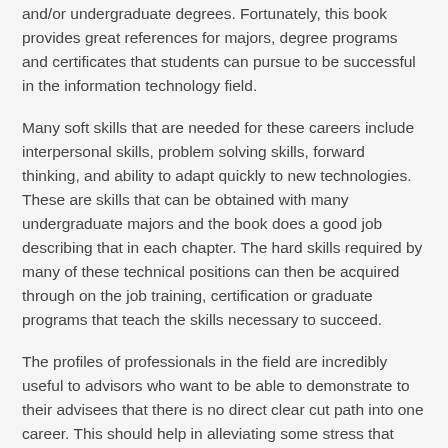and/or undergraduate degrees.  Fortunately, this book provides great references for majors, degree programs and certificates that students can pursue to be successful in the information technology field.
Many soft skills that are needed for these careers include interpersonal skills, problem solving skills, forward thinking, and ability to adapt quickly to new technologies.  These are skills that can be obtained with many undergraduate majors and the book does a good job describing that in each chapter. The hard skills required by many of these technical positions can then be acquired through on the job training, certification or graduate programs that teach the skills necessary to succeed.
The profiles of professionals in the field are incredibly useful to advisors who want to be able to demonstrate to their advisees that there is no direct clear cut path into one career.  This should help in alleviating some stress that students feel if they think that choosing a major may pigeon hole them into only one career path. The profiles highlight some of the